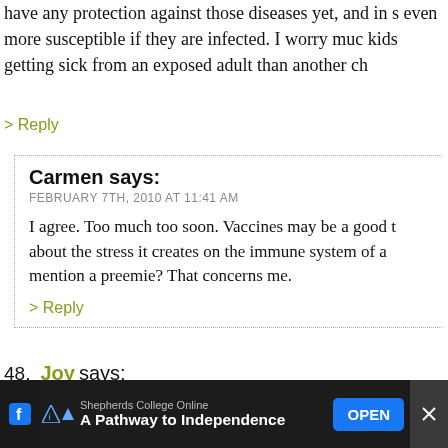have any protection against those diseases yet, and in s even more susceptible if they are infected. I worry muc kids getting sick from an exposed adult than another ch
> Reply
Carmen says:
FEBRUARY 7TH, 2010 AT 11:41 AM

I agree. Too much too soon. Vaccines may be a good t about the stress it creates on the immune system of a mention a preemie? That concerns me.

> Reply
48. Joy says:
FEBRUARY 7TH, 2010 AT 10:23 AM

Here's the thing – parents make the best decisions they their child.

In this country we have freedom over our bodies, and th cannot be legislated into injecting anything into them
Shepherds College Online  A Pathway to Independence  OPEN